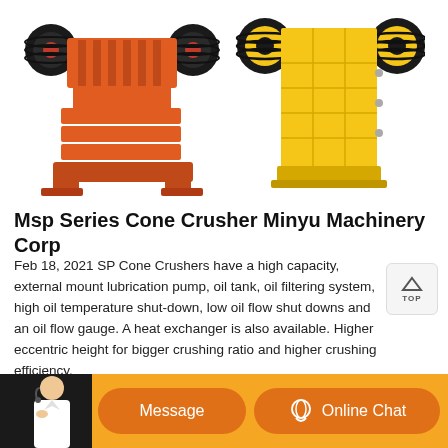[Figure (photo): Two jaw crushers side by side: a red/orange one on the left and a yellow one on the right, both with large black flywheels on top]
Msp Series Cone Crusher Minyu Machinery Corp
Feb 18, 2021 SP Cone Crushers have a high capacity, external mount lubrication pump, oil tank, oil filtering system, high oil temperature shutdown, low oil flow shut downs and an oil flow gauge. A heat exchanger is also available. Higher eccentric height for bigger crushing ratio and higher crushing efficiency.
[Figure (photo): Chat bar at bottom with orange background, person with headset on left dark background, Message button and Online Chat button with headset icon]